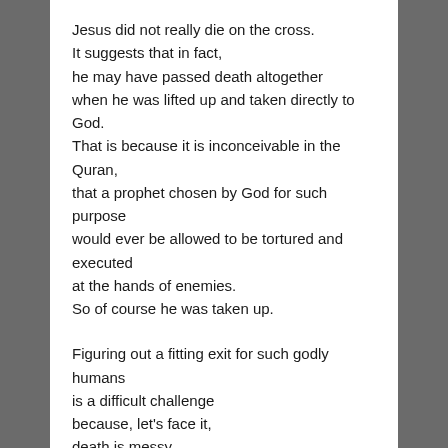Jesus did not really die on the cross. It suggests that in fact, he may have passed death altogether when he was lifted up and taken directly to God. That is because it is inconceivable in the Quran, that a prophet chosen by God for such purpose would ever be allowed to be tortured and executed at the hands of enemies. So of course he was taken up.
Figuring out a fitting exit for such godly humans is a difficult challenge because, let's face it, death is messy. A torturous death is the messiest, not to mention the most shocking and scandalous.